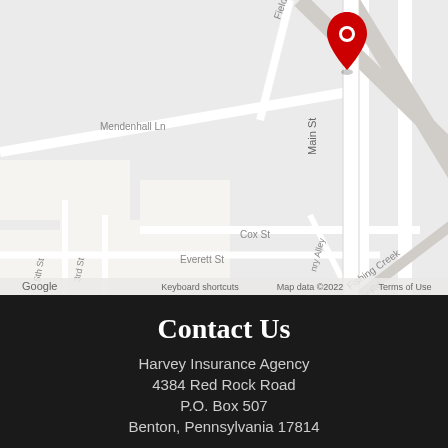[Figure (map): Google Maps screenshot showing Benton, Pennsylvania area with a red location pin on Main St. Street names visible include Field Rd, Mendenhall Ln, Main St, Shickshinny Rd, Fishing Creek, Cox St, Everett St, 5th St, 3rd St, Henry Alley. Map controls (+ and -) visible on right. Attribution shows Google, Keyboard shortcuts, Map data ©2022, Terms of Use.]
Contact Us
Harvey Insurance Agency
4384 Red Rock Road
P.O. Box 507
Benton, Pennsylvania 17814